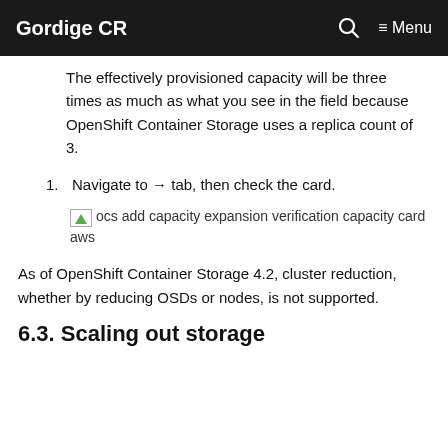Gordige CR | Menu
The effectively provisioned capacity will be three times as much as what you see in the field because OpenShift Container Storage uses a replica count of 3.
1. Navigate to → tab, then check the card.
[Figure (screenshot): Broken image placeholder with alt text: ocs add capacity expansion verification capacity card aws]
As of OpenShift Container Storage 4.2, cluster reduction, whether by reducing OSDs or nodes, is not supported.
6.3. Scaling out storage